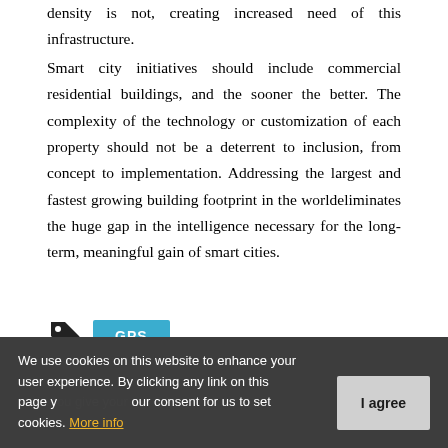density is not, creating increased need of this infrastructure.
Smart city initiatives should include commercial residential buildings, and the sooner the better. The complexity of the technology or customization of each property should not be a deterrent to inclusion, from concept to implementation. Addressing the largest and fastest growing building footprint in the worldeliminates the huge gap in the intelligence necessary for the long-term, meaningful gain of smart cities.
[Figure (other): Tag icon (price tag shape) followed by a blue GPS badge/button]
ON THE DECK
We use cookies on this website to enhance your user experience. By clicking any link on this page you give your consent for us to set cookies. More info